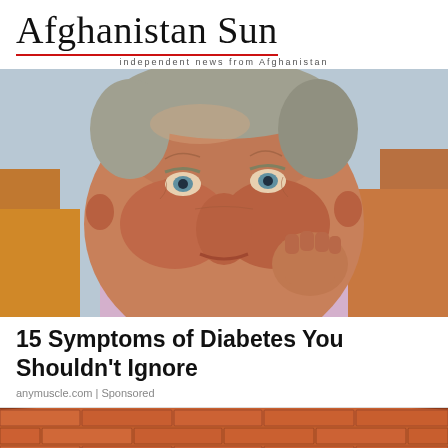Afghanistan Sun
independent news from Afghanistan
[Figure (photo): Close-up portrait of an elderly man with wrinkled skin, reddish complexion, grey hair, wearing a light pink/lavender shirt, resting his chin on his hand]
15 Symptoms of Diabetes You Shouldn't Ignore
anymuscle.com | Sponsored
[Figure (photo): Partial image of a curved red brick wall or building facade]